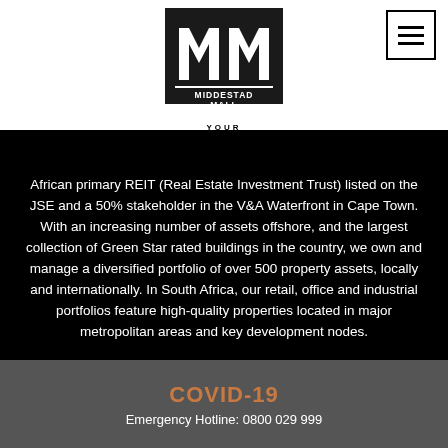[Figure (logo): Middestad Mall logo — black square with stylized MM mark and text MIDDESTAD MALL with tagline YOUR CONNECTION]
[Figure (other): Hamburger menu button — three horizontal lines in a square border]
African primary REIT (Real Estate Investment Trust) listed on the JSE and a 50% stakeholder in the V&A Waterfront in Cape Town. With an increasing number of assets offshore, and the largest collection of Green Star rated buildings in the country, we own and manage a diversified portfolio of over 500 property assets, locally and internationally. In South Africa, our retail, office and industrial portfolios feature high-quality properties located in major metropolitan areas and key development nodes.
COVID-19
Emergency Hotline: 0800 029 999